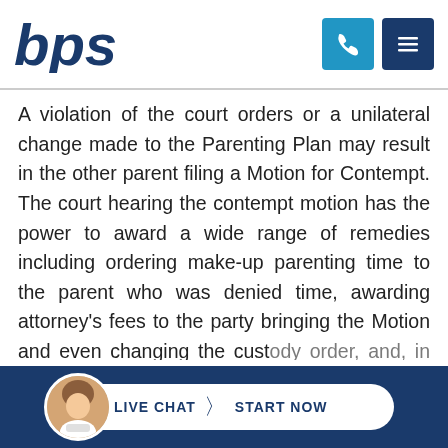[Figure (logo): BPS Lawyers logo — stylized 'bps' text in dark blue with 'lawyers' beneath]
A violation of the court orders or a unilateral change made to the Parenting Plan may result in the other parent filing a Motion for Contempt. The court hearing the contempt motion has the power to award a wide range of remedies including ordering make-up parenting time to the parent who was denied time, awarding attorney's fees to the party bringing the Motion and even changing the custody order, and, in some situations, of
[Figure (infographic): Live Chat widget with female avatar, 'LIVE CHAT > START NOW' button on dark navy footer bar]